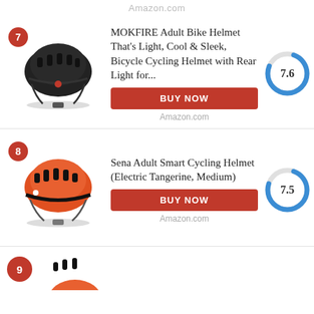Amazon.com
[Figure (photo): Black adult bike helmet, MOKFIRE brand, rank 7]
MOKFIRE Adult Bike Helmet That's Light, Cool & Sleek, Bicycle Cycling Helmet with Rear Light for...
[Figure (donut-chart): Score]
BUY NOW
Amazon.com
[Figure (photo): Orange and black Sena Adult Smart Cycling Helmet, rank 8]
Sena Adult Smart Cycling Helmet (Electric Tangerine, Medium)
[Figure (donut-chart): Score]
BUY NOW
Amazon.com